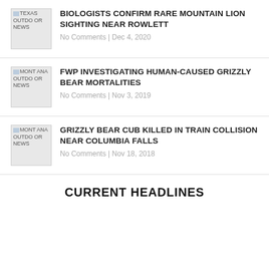BIOLOGISTS CONFIRM RARE MOUNTAIN LION SIGHTING NEAR ROWLETT | No Comments | Dec 4, 2020
FWP INVESTIGATING HUMAN-CAUSED GRIZZLY BEAR MORTALITIES | No Comments | Nov 3, 2019
GRIZZLY BEAR CUB KILLED IN TRAIN COLLISION NEAR COLUMBIA FALLS | No Comments | Nov 18, 2018
CURRENT HEADLINES